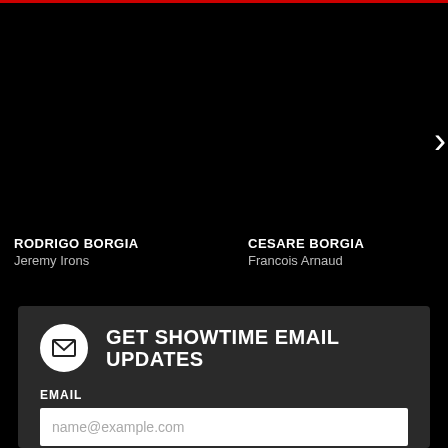[Figure (screenshot): Black background cast carousel section showing character cards for Rodrigo Borgia, Cesare Borgia, and partially visible Lucrezia Borgia with a right-arrow navigation chevron]
RODRIGO BORGIA
Jeremy Irons
CESARE BORGIA
Francois Arnaud
LUCR[ezia Borgia]
Hollida[y Grainger]
GET SHOWTIME EMAIL UPDATES
EMAIL
name@example.com